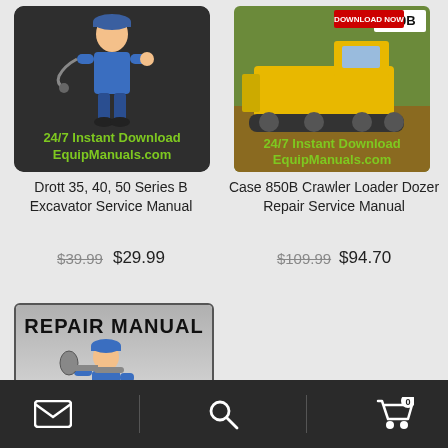[Figure (illustration): Drott service manual product card with cartoon mechanic and '24/7 Instant Download EquipManuals.com' text on dark background]
[Figure (photo): Case 850B Crawler Loader Dozer product card with bulldozer photo and '24/7 Instant Download EquipManuals.com' text, 'DOWNLOAD NOW' badge, '850B' label]
Drott 35, 40, 50 Series B Excavator Service Manual
$39.99  $29.99
Case 850B Crawler Loader Dozer Repair Service Manual
$109.99  $94.70
[Figure (illustration): Repair Manual product card with cartoon mechanic holding wrench, 'REPAIR MANUAL' header text, gradient background]
Email  Search  Cart (0)